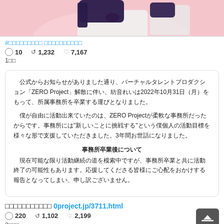[Figure (illustration): Anime-style character with dark hair, wearing a white school uniform with red bow/ribbon, against a pink background. Only the upper portion is visible.]
#□□□□□□□□□ □□□□□□□□□□
○ 10  1,232  ♡ 7,167
1□□
公式からお知らせがありました通り、バーチャルタレントプロダクション「ZERO Project」解散に伴い、紡音れいは2022年10月31日（月）をもって、所属事務所を卒業する運びとなりました。

　僕が自由に活動出来ていたのは、ZERO Projectが柔軟な事務所だったからです。事務所には"新しいことに挑戦する"という僕個人の活動目標を様々な形で支援していただきました。3年間お世話になりました。

事務所卒業後について
　現在可能な限り活動継続の道を模索中ですが、事務所卒業と共に活動終了の可能性もあります。応援してくださる皆様にご心配をおかけする報告となってしまい、申し訳ございません。
□□□□□□□□□□□ 0project.jp/3711.html
○ 220  1,102  ♡ 2,199
2□□□
[Figure (illustration): Manga/comic style illustration with Japanese characters and line art showing a school or office scene]